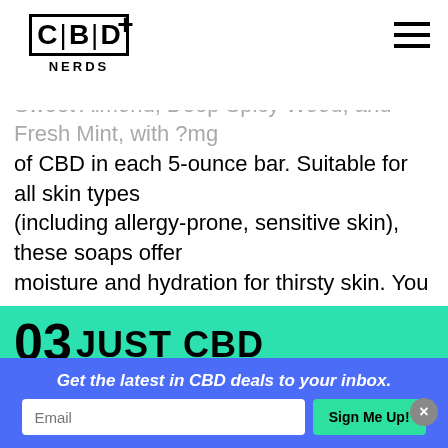CBD+ NERDS
man's CBD soap is available in three vari... Sweet Almond, Deep Spicy Wood, and Fresh Mint, with ?mg of CBD in each 5-ounce bar. Suitable for all skin types (including allergy-prone, sensitive skin), these soaps offer moisture and hydration for thirsty skin. You can use our American Shaman coupon to help you save on this soap!
03 JUST CBD
[Figure (photo): Product image of Just CBD soap bar in beige/tan color inside a white box with black border]
Get the latest in CBD deals to your inbox.